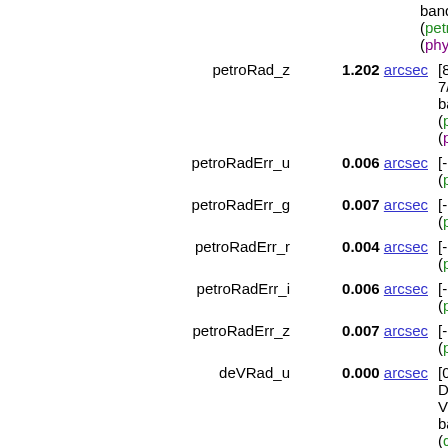band (petroR... (phys.angSiz...
petroRad_z 1.202 arcsec [8.3e-7/261] band (petroR... (phys.angSiz...
petroRadErr_u 0.006 arcsec [-1000/259] (petroRadErr...
petroRadErr_g 0.007 arcsec [-1000/259] (petroRadErr...
petroRadErr_r 0.004 arcsec [-1000/259] (petroRadErr...
petroRadErr_i 0.006 arcsec [-1000/259] (petroRadErr...
petroRadErr_z 0.007 arcsec [-1000/257] (petroRadErr...
deVRad_u 0.000 arcsec [0/257] De V band (deVRa...
deVRad_g 0.084 arcsec [0/238] De V band (deVRa...
deVRad_r 0.594 arcsec [0/238] De V band (deVRa...
deVRad_i 0.046 arcsec [0/232] De V band (deVRa...